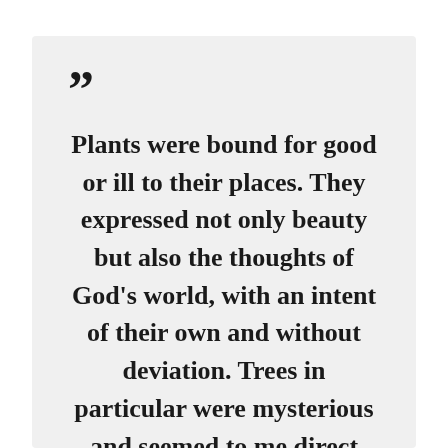““ Plants were bound for good or ill to their places. They expressed not only beauty but also the thoughts of God's world, with an intent of their own and without deviation. Trees in particular were mysterious and seemed to me direct embodiments of the incomprehensible meaning of life. For that reason, the woods were the places where I felt closest to its